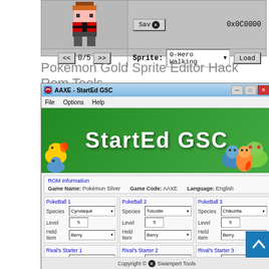[Figure (screenshot): Pokemon Gold Sprite Editor tool screenshot showing sprite editing area with pixel art, Save button, 0x0C0000 hex value, navigation arrows showing 0/5, Sprite dropdown with '0-Hero Walking' and Load button]
Pokemon Gold Sprite Editor Hack Rom Tools
[Figure (screenshot): AAXE - StartEd GSC application window showing ROM information for Pokemon Silver (Game Code: AAXE, Language: English), three PokeBall sections with Species (Cyndaquil, Totodile, Chikorita), Level 5 and Held Item Berry each, and three Rival's Starter sections with Species (Totodile, Chikorita, Cyndaquil) and Level 5 each. Green banner with StartEd GSC title and Pokemon characters. Copyright Swampert Tools at bottom.]